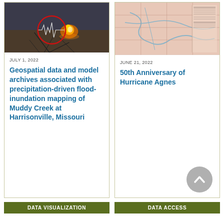[Figure (photo): Aerial or close-up photo of flood/fire damage with red circle overlay and bright orange flame visible on cracked ground]
JULY 1, 2022
Geospatial data and model archives associated with precipitation-driven flood-inundation mapping of Muddy Creek at Harrisonville, Missouri
[Figure (map): Historical map with pink/beige tones showing geographic region with waterways and grid overlay, likely related to Hurricane Agnes]
JUNE 21, 2022
50th Anniversary of Hurricane Agnes
DATA VISUALIZATION
DATA ACCESS